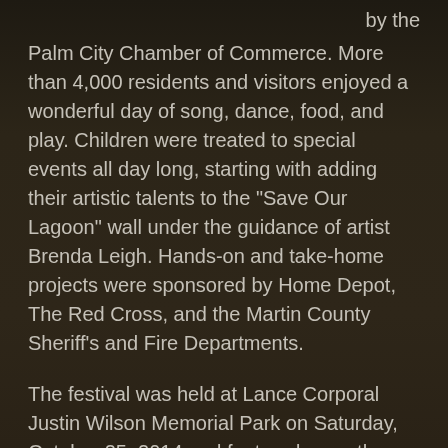by the Palm City Chamber of Commerce. More than 4,000 residents and visitors enjoyed a wonderful day of song, dance, food, and play. Children were treated to special events all day long, starting with adding their artistic talents to the "Save Our Lagoon" wall under the guidance of artist Brenda Leigh. Hands-on and take-home projects were sponsored by Home Depot, The Red Cross, and the Martin County Sheriff's and Fire Departments.
The festival was held at Lance Corporal Justin Wilson Memorial Park on Saturday, October 25, 2014 and featured more than 100 arts and crafts, community and business booths, and specialties from local restaurants. There was a classic car show including tuners, hot rods, motorcycles and trucks. Musical entertainment was provided by our local schools and Cassidy Diana, a favorite for young and old alike.